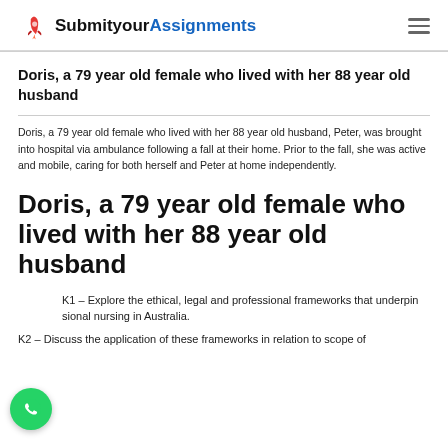SubmityourAssignments
Doris, a 79 year old female who lived with her 88 year old husband
Doris, a 79 year old female who lived with her 88 year old husband, Peter, was brought into hospital via ambulance following a fall at their home. Prior to the fall, she was active and mobile, caring for both herself and Peter at home independently.
Doris, a 79 year old female who lived with her 88 year old husband
K1 – Explore the ethical, legal and professional frameworks that underpin sional nursing in Australia.
K2 – Discuss the application of these frameworks in relation to scope of